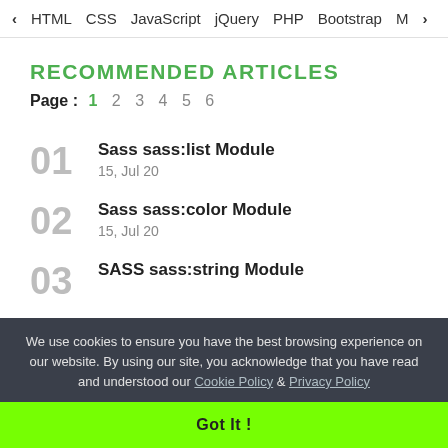< HTML  CSS  JavaScript  jQuery  PHP  Bootstrap  M>
RECOMMENDED ARTICLES
Page : 1 2 3 4 5 6
01 Sass sass:list Module
15, Jul 20
02 Sass sass:color Module
15, Jul 20
03 SASS sass:string Module
We use cookies to ensure you have the best browsing experience on our website. By using our site, you acknowledge that you have read and understood our Cookie Policy & Privacy Policy
Got It !